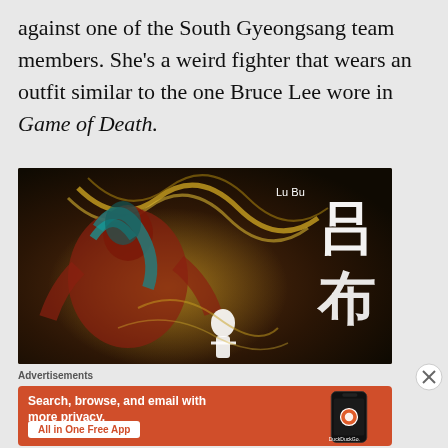against one of the South Gyeongsang team members. She's a weird fighter that wears an outfit similar to the one Bruce Lee wore in Game of Death.
[Figure (illustration): Animated scene labeled 'Lu Bu' with Chinese characters on the right side, showing a colorful anime-style illustration of fighters against a dark background with rope/chain elements.]
Advertisements
[Figure (screenshot): DuckDuckGo advertisement with orange background. Text reads 'Search, browse, and email with more privacy. All in One Free App'. Shows a phone mockup with DuckDuckGo logo.]